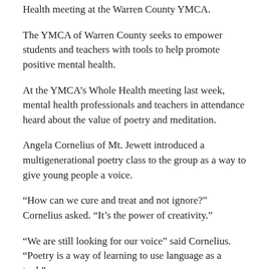Health meeting at the Warren County YMCA.
The YMCA of Warren County seeks to empower students and teachers with tools to help promote positive mental health.
At the YMCA’s Whole Health meeting last week, mental health professionals and teachers in attendance heard about the value of poetry and meditation.
Angela Cornelius of Mt. Jewett introduced a multigenerational poetry class to the group as a way to give young people a voice.
“How can we cure and treat and not ignore?” Cornelius asked. “It’s the power of creativity.”
“We are still looking for our voice” said Cornelius. “Poetry is a way of learning to use language as a tool.”
In recent pandemic years, “I had several people I know who committed suicide,” she says. “That’s one way to deal with it. We can write it. Edit it.